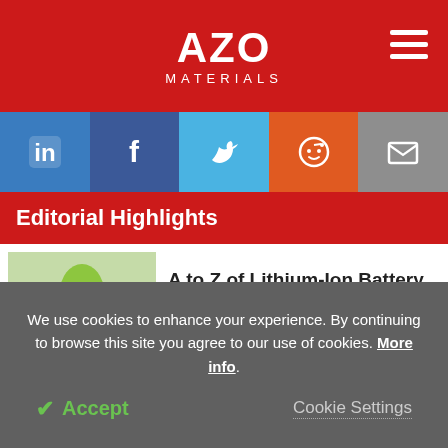AZO MATERIALS
[Figure (logo): AZO Materials logo in white on red background with hamburger menu icon]
[Figure (infographic): Social sharing bar with LinkedIn, Facebook, Twitter, Reddit, and Email icons]
Editorial Highlights
[Figure (photo): Green flower-shaped lithium-ion battery recycling illustration with battery cells]
A to Z of Lithium-Ion Battery Recycling
[Figure (photo): Partial image of alloys article thumbnail]
Which Alloys Are Prone to
We use cookies to enhance your experience. By continuing to browse this site you agree to our use of cookies. More info.
Accept
Cookie Settings